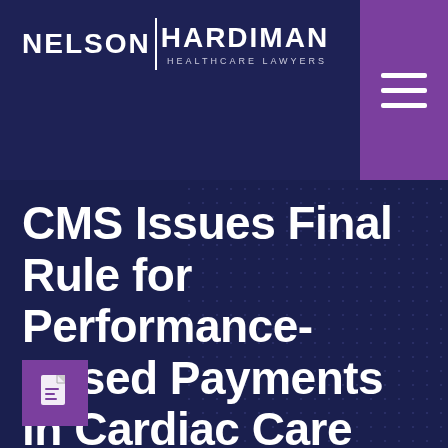[Figure (logo): Nelson Hardiman Healthcare Lawyers logo — white text on dark navy background, with a vertical divider between NELSON and HARDIMAN, and HEALTHCARE LAWYERS subtitle below]
[Figure (other): Purple square with three white horizontal lines (hamburger menu icon) in top-right corner]
CMS Issues Final Rule for Performance-Based Payments in Cardiac Care
[Figure (other): Purple square with white PDF/document icon at bottom-left]